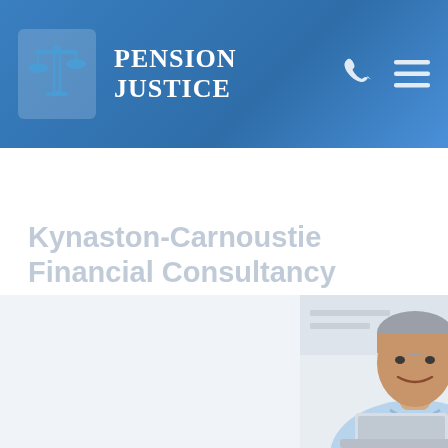[Figure (logo): Pension Justice logo with scales of justice icon in blue and white, with brand name 'PENSION JUSTICE']
Kynaston-Carnoustie Financial Consultancy Limited
[Figure (other): Green 'Get Started' button with right arrow chevron]
[Figure (photo): Photo of a middle-aged man in a light blue shirt smiling, sitting at a laptop computer]